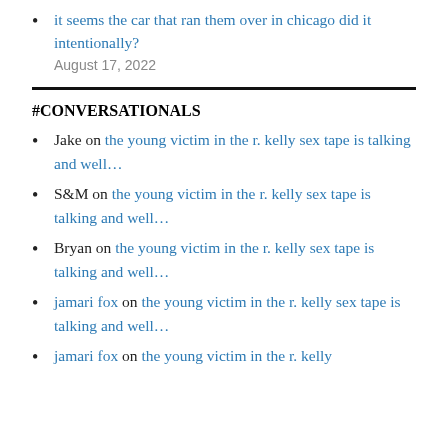it seems the car that ran them over in chicago did it intentionally?
August 17, 2022
#CONVERSATIONALS
Jake on the young victim in the r. kelly sex tape is talking and well…
S&M on the young victim in the r. kelly sex tape is talking and well…
Bryan on the young victim in the r. kelly sex tape is talking and well…
jamari fox on the young victim in the r. kelly sex tape is talking and well…
jamari fox on the young victim in the r. kelly